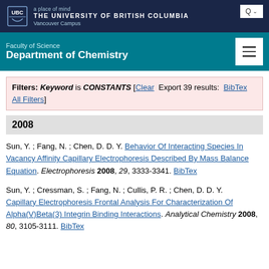a place of mind THE UNIVERSITY OF BRITISH COLUMBIA Vancouver Campus
Faculty of Science Department of Chemistry
Filters: Keyword is CONSTANTS [Clear  Export 39 results:  BibTex  All Filters]
2008
Sun, Y. ; Fang, N. ; Chen, D. D. Y. Behavior Of Interacting Species In Vacancy Affinity Capillary Electrophoresis Described By Mass Balance Equation. Electrophoresis 2008, 29, 3333-3341. BibTex
Sun, Y. ; Cressman, S. ; Fang, N. ; Cullis, P. R. ; Chen, D. D. Y. Capillary Electrophoresis Frontal Analysis For Characterization Of Alpha(V)Beta(3) Integrin Binding Interactions. Analytical Chemistry 2008, 80, 3105-3111. BibTex